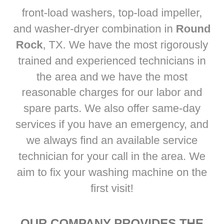front-load washers, top-load impeller, and washer-dryer combination in Round Rock, TX. We have the most rigorously trained and experienced technicians in the area and we have the most reasonable charges for our labor and spare parts. We also offer same-day services if you have an emergency, and we always find an available service technician for your call in the area. We aim to fix your washing machine on the first visit!
OUR COMPANY PROVIDES THE FOLLOWING SERVICES FOR WASHERS AND DRYERS: